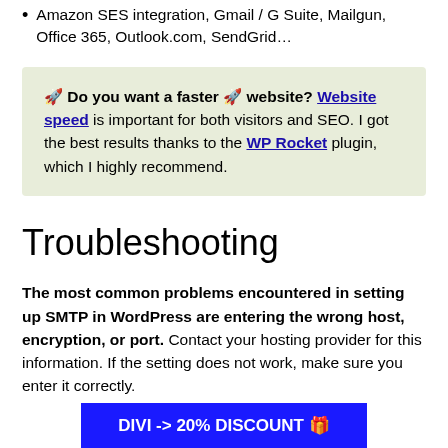Amazon SES integration, Gmail / G Suite, Mailgun, Office 365, Outlook.com, SendGrid…
🚀 Do you want a faster 🚀 website? Website speed is important for both visitors and SEO. I got the best results thanks to the WP Rocket plugin, which I highly recommend.
Troubleshooting
The most common problems encountered in setting up SMTP in WordPress are entering the wrong host, encryption, or port. Contact your hosting provider for this information. If the setting does not work, make sure you enter it correctly.
DIVI -> 20% DISCOUNT 🎁